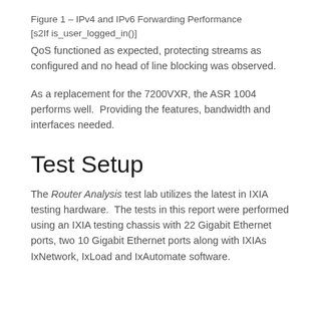Figure 1 – IPv4 and IPv6 Forwarding Performance [s2If is_user_logged_in()]
QoS functioned as expected, protecting streams as configured and no head of line blocking was observed.
As a replacement for the 7200VXR, the ASR 1004 performs well.  Providing the features, bandwidth and interfaces needed.
Test Setup
The Router Analysis test lab utilizes the latest in IXIA testing hardware.  The tests in this report were performed using an IXIA testing chassis with 22 Gigabit Ethernet ports, two 10 Gigabit Ethernet ports along with IXIAs IxNetwork, IxLoad and IxAutomate software.